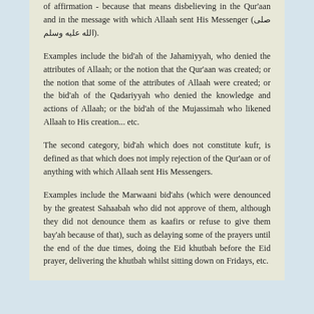of affirmation - because that means disbelieving in the Qur'aan and in the message with which Allaah sent His Messenger (صلى الله عليه وسلم).
Examples include the bid'ah of the Jahamiyyah, who denied the attributes of Allaah; or the notion that the Qur'aan was created; or the notion that some of the attributes of Allaah were created; or the bid'ah of the Qadariyyah who denied the knowledge and actions of Allaah; or the bid'ah of the Mujassimah who likened Allaah to His creation... etc.
The second category, bid'ah which does not constitute kufr, is defined as that which does not imply rejection of the Qur'aan or of anything with which Allaah sent His Messengers.
Examples include the Marwaani bid'ahs (which were denounced by the greatest Sahaabah who did not approve of them, although they did not denounce them as kaafirs or refuse to give them bay'ah because of that), such as delaying some of the prayers until the end of the due times, doing the Eid khutbah before the Eid prayer, delivering the khutbah whilst sitting down on Fridays, etc.